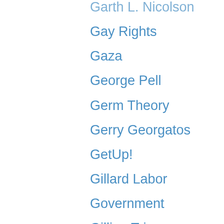Garth L. Nicolson
Gay Rights
Gaza
George Pell
Germ Theory
Gerry Georgatos
GetUp!
Gillard Labor Government
Gillian Triggs
Glen Clancy
GM Foods
Gun Control
Hannah Poling
Harry Fear
Healthcare identifier
Heart Disease
Hitler
Home demolitions
Honour Killings
Human Rights
Ian R Crane
Imani Hekima
impeachment